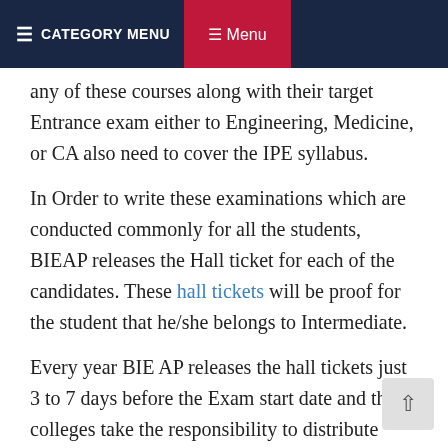≡ CATEGORY MENU   ≡ Menu
any of these courses along with their target Entrance exam either to Engineering, Medicine, or CA also need to cover the IPE syllabus.
In Order to write these examinations which are conducted commonly for all the students, BIEAP releases the Hall ticket for each of the candidates. These hall tickets will be proof for the student that he/she belongs to Intermediate.
Every year BIE AP releases the hall tickets just 3 to 7 days before the Exam start date and the colleges take the responsibility to distribute them to the Students.
As per the speculations, AP Inter exams will start from the 4th week of February 2022 and they might end by